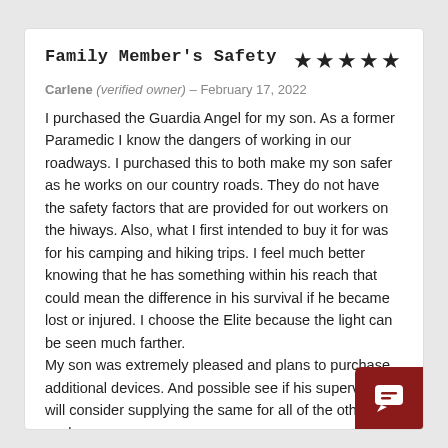Family Member's Safety
Carlene (verified owner) – February 17, 2022
I purchased the Guardia Angel for my son. As a former Paramedic I know the dangers of working in our roadways. I purchased this to both make my son safer as he works on our country roads. They do not have the safety factors that are provided for out workers on the hiways. Also, what I first intended to buy it for was for his camping and hiking trips. I feel much better knowing that he has something within his reach that could mean the difference in his survival if he became lost or injured. I choose the Elite because the light can be seen much farther.
My son was extremely pleased and plans to purchase additional devices. And possible see if his supervisor will consider supplying the same for all of the other workers.
👍 (0)  👎 (0)